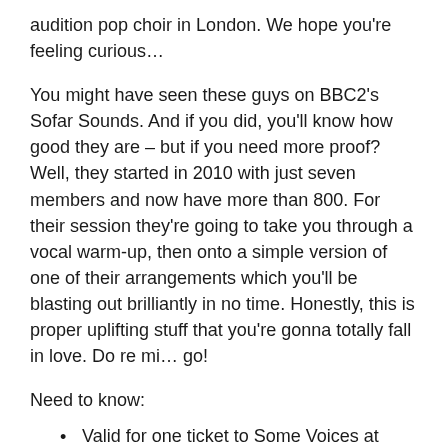audition pop choir in London. We hope you're feeling curious…
You might have seen these guys on BBC2's Sofar Sounds. And if you did, you'll know how good they are – but if you need more proof? Well, they started in 2010 with just seven members and now have more than 800. For their session they're going to take you through a vocal warm-up, then onto a simple version of one of their arrangements which you'll be blasting out brilliantly in no time. Honestly, this is proper uplifting stuff that you're gonna totally fall in love. Do re mi… go!
Need to know:
Valid for one ticket to Some Voices at Time Out x Nescafé Azera presents: Stay Curious on Saturday July 20.